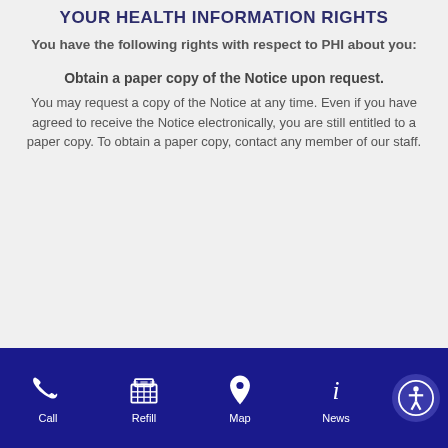YOUR HEALTH INFORMATION RIGHTS
You have the following rights with respect to PHI about you:
Obtain a paper copy of the Notice upon request.
You may request a copy of the Notice at any time. Even if you have agreed to receive the Notice electronically, you are still entitled to a paper copy. To obtain a paper copy, contact any member of our staff.
Call  Refill  Map  News